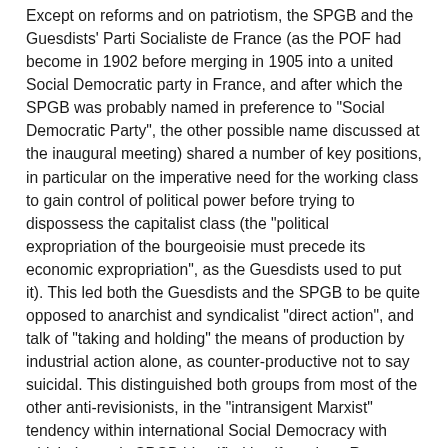Except on reforms and on patriotism, the SPGB and the Guesdists' Parti Socialiste de France (as the POF had become in 1902 before merging in 1905 into a united Social Democratic party in France, and after which the SPGB was probably named in preference to "Social Democratic Party", the other possible name discussed at the inaugural meeting) shared a number of key positions, in particular on the imperative need for the working class to gain control of political power before trying to dispossess the capitalist class (the "political expropriation of the bourgeoisie must precede its economic expropriation", as the Guesdists used to put it). This led both the Guesdists and the SPGB to be quite opposed to anarchist and syndicalist "direct action", and talk of "taking and holding" the means of production by industrial action alone, as counter-productive not to say suicidal. This distinguished both groups from most of the other anti-revisionists, in the "intransigent Marxist" tendency within international Social Democracy with which the early SPGB identified itself, such as Rosa Luxemburg and Anton Pannekoek who did try to incorporate the "mass strike" into socialist tactics. Despite this, "Red Rosa" received a favourable mention in the Socialist Standard in 1907 which